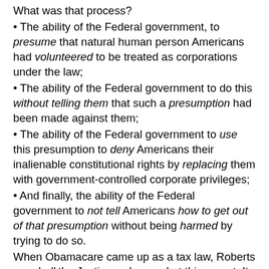What was that process?
• The ability of the Federal government, to presume that natural human person Americans had volunteered to be treated as corporations under the law;
• The ability of the Federal government to do this without telling them that such a presumption had been made against them;
• The ability of the Federal government to use this presumption to deny Americans their inalienable constitutional rights by replacing them with government-controlled corporate privileges;
• And finally, the ability of the Federal government to not tell Americans how to get out of that presumption without being harmed by trying to do so.
When Obamacare came up as a tax law, Roberts – and all the Justices – knew what this meant. It meant Congress had gone back